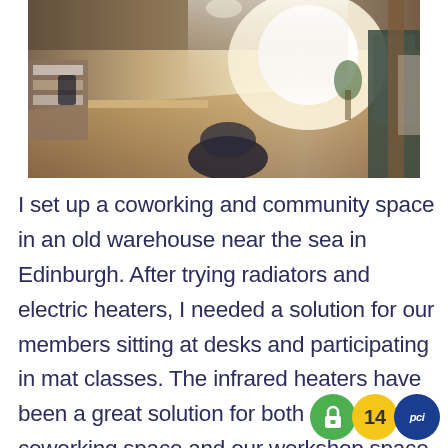[Figure (photo): Interior photo of a coworking and community space in an old warehouse, showing open work area with desks, chairs, shelving, windows with bright light, wooden flooring, and various workspace items.]
I set up a coworking and community space in an old warehouse near the sea in Edinburgh. After trying radiators and electric heaters, I needed a solution for our members sitting at desks and participating in mat classes. The infrared heaters have been a great solution for both our coworking space and our workshop space. They are super effective and easy to install and operate. Dani T... of Tribe Port...